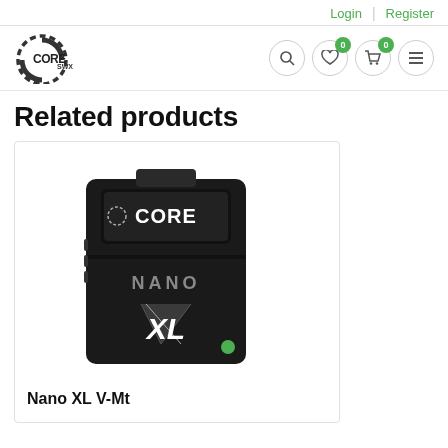Login | Register
[Figure (logo): CORE SWX logo — circular dashed ring with CORE text and SWX subscript]
Related products
[Figure (photo): CORE SWX Nano XL V-Mount battery — black rectangular battery with CORE logo panel on top and NANO XL branding with green lightning bolt on front]
Nano XL V-Mt